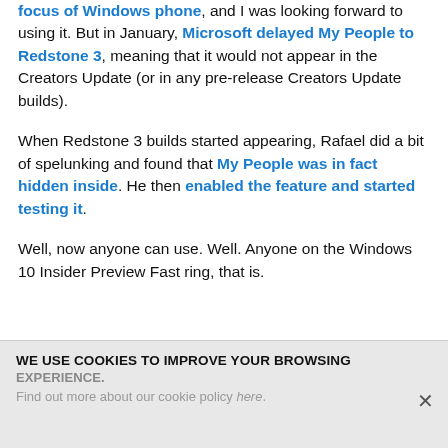focus of Windows phone, and I was looking forward to using it. But in January, Microsoft delayed My People to Redstone 3, meaning that it would not appear in the Creators Update (or in any pre-release Creators Update builds).
When Redstone 3 builds started appearing, Rafael did a bit of spelunking and found that My People was in fact hidden inside. He then enabled the feature and started testing it.
Well, now anyone can use. Well. Anyone on the Windows 10 Insider Preview Fast ring, that is.
WE USE COOKIES TO IMPROVE YOUR BROWSING EXPERIENCE. Find out more about our cookie policy here.